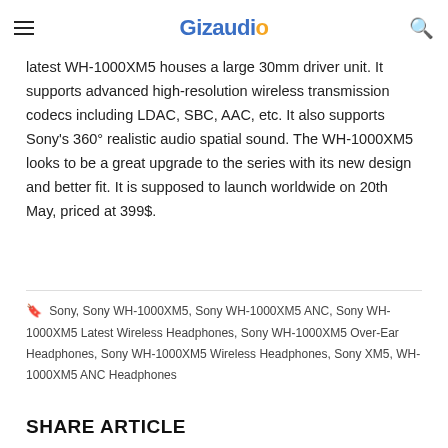Gizaudio
latest WH-1000XM5 houses a large 30mm driver unit. It supports advanced high-resolution wireless transmission codecs including LDAC, SBC, AAC, etc. It also supports Sony's 360° realistic audio spatial sound. The WH-1000XM5 looks to be a great upgrade to the series with its new design and better fit. It is supposed to launch worldwide on 20th May, priced at 399$.
Sony, Sony WH-1000XM5, Sony WH-1000XM5 ANC, Sony WH-1000XM5 Latest Wireless Headphones, Sony WH-1000XM5 Over-Ear Headphones, Sony WH-1000XM5 Wireless Headphones, Sony XM5, WH-1000XM5 ANC Headphones
SHARE ARTICLE